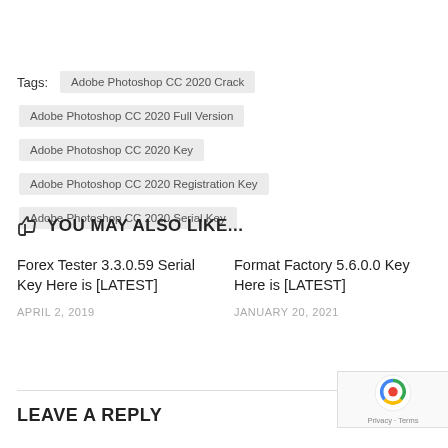Tags: Adobe Photoshop CC 2020 Crack   Adobe Photoshop CC 2020 Full Version   Adobe Photoshop CC 2020 Key   Adobe Photoshop CC 2020 Registration Key   Adobe Photoshop CC 2020 Serial Key
👍 YOU MAY ALSO LIKE...
Forex Tester 3.3.0.59 Serial Key Here is [LATEST]
APRIL 2, 2019
Format Factory 5.6.0.0 Key Here is [LATEST]
JANUARY 20, 2021
LEAVE A REPLY